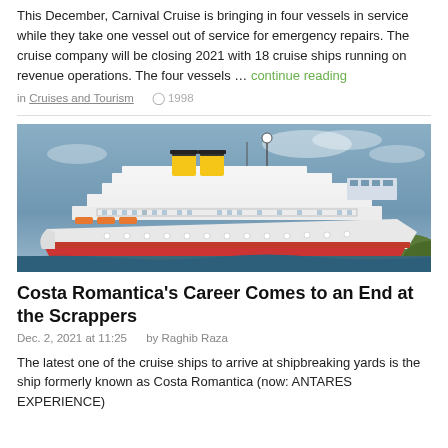This December, Carnival Cruise is bringing in four vessels in service while they take one vessel out of service for emergency repairs. The cruise company will be closing 2021 with 18 cruise ships running on revenue operations. The four vessels … continue reading
in Cruises and Tourism  1998
[Figure (photo): A large white cruise ship with yellow funnels, photographed from a low angle against a cloudy sky with green hills in the background.]
Costa Romantica's Career Comes to an End at the Scrappers
Dec. 2, 2021 at 11:25    by Raghib Raza
The latest one of the cruise ships to arrive at shipbreaking yards is the ship formerly known as Costa Romantica (now: ANTARES EXPERIENCE)